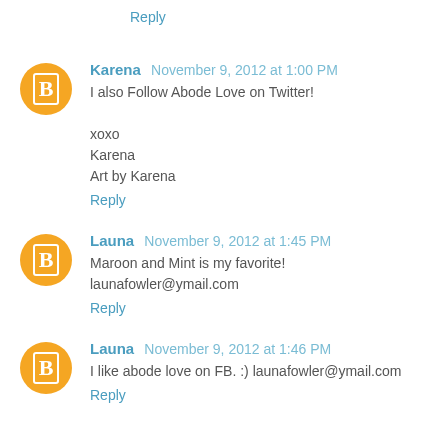Reply
Karena November 9, 2012 at 1:00 PM
I also Follow Abode Love on Twitter!

xoxo
Karena
Art by Karena
Reply
Launa November 9, 2012 at 1:45 PM
Maroon and Mint is my favorite! launafowler@ymail.com
Reply
Launa November 9, 2012 at 1:46 PM
I like abode love on FB. :) launafowler@ymail.com
Reply